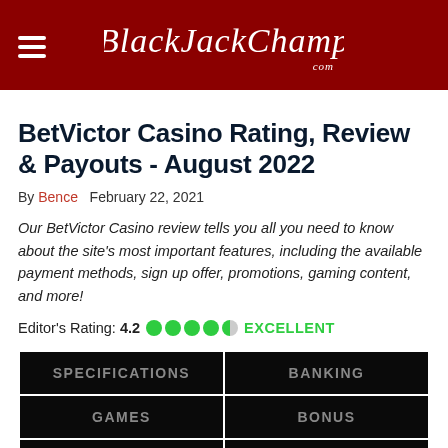BlackJackChamp
BetVictor Casino Rating, Review & Payouts - August 2022
By Bence  February 22, 2021
Our BetVictor Casino review tells you all you need to know about the site's most important features, including the available payment methods, sign up offer, promotions, gaming content, and more!
Editor's Rating: 4.2  EXCELLENT
| SPECIFICATIONS | BANKING |
| --- | --- |
| GAMES | BONUS |
| MOBILE | USER REVIEWS |